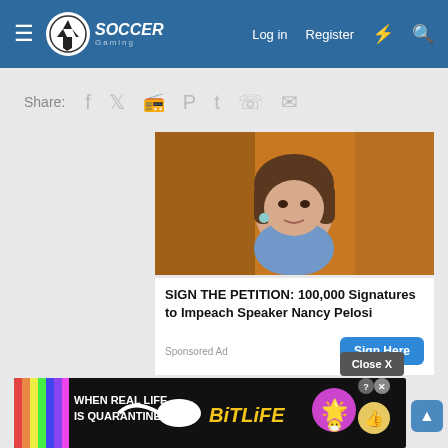Soccer Gaming — Log in  Register
Share: (social icons: Facebook, Twitter, Reddit, Pinterest, Tumblr, WhatsApp, Email)
[Figure (photo): Photo of a woman (Nancy Pelosi) against an orange background, wearing a blue blazer]
SIGN THE PETITION: 100,000 Signatures to Impeach Speaker Nancy Pelosi
Sponsored Ad
Sign Here (button)
Close X (button)
[Figure (screenshot): BitLife mobile game advertisement banner: WHEN REAL LIFE IS QUARANTINED — BitLife logo with star emoji and thumbs up emoji, rainbow stripe on left, question mark and X close buttons]